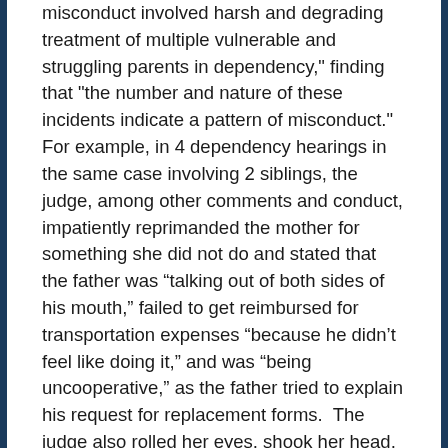misconduct involved harsh and degrading treatment of multiple vulnerable and struggling parents in dependency," finding that "the number and nature of these incidents indicate a pattern of misconduct."  For example, in 4 dependency hearings in the same case involving 2 siblings, the judge, among other comments and conduct, impatiently reprimanded the mother for something she did not do and stated that the father was “talking out of both sides of his mouth,” failed to get reimbursed for transportation expenses “because he didn’t feel like doing it,” and was “being uncooperative,” as the father tried to explain his request for replacement forms.  The judge also rolled her eyes, shook her head, argued with the parents, and declared that she could order the mother to do whatever she wanted.  In addition, the judge incorrectly